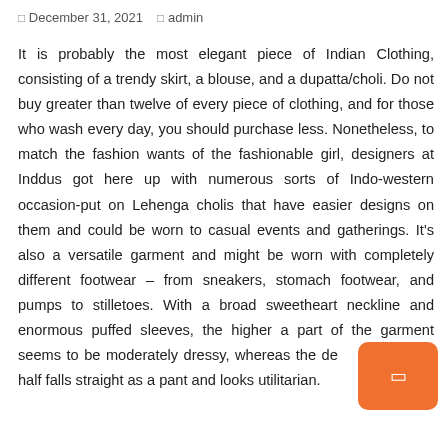□ December 31, 2021   □ admin
It is probably the most elegant piece of Indian Clothing, consisting of a trendy skirt, a blouse, and a dupatta/choli. Do not buy greater than twelve of every piece of clothing, and for those who wash every day, you should purchase less. Nonetheless, to match the fashion wants of the fashionable girl, designers at Inddus got here up with numerous sorts of Indo-western occasion-put on Lehenga cholis that have easier designs on them and could be worn to casual events and gatherings. It's also a versatile garment and might be worn with completely different footwear – from sneakers, stomach footwear, and pumps to stilletoes. With a broad sweetheart neckline and enormous puffed sleeves, the higher a part of the garment seems to be moderately dressy, whereas the destyled half falls straight as a pant and looks utilitarian.